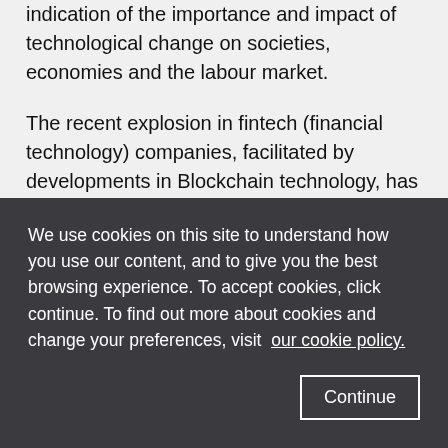indication of the importance and impact of technological change on societies, economies and the labour market.
The recent explosion in fintech (financial technology) companies, facilitated by developments in Blockchain technology, has created a new occupational area for LSE students to consider. It also demonstrates the rapid pace in which technological innovation is shaping the careers landscape for graduates. In job descriptions for graduate roles across the sector, innovation and creativity are increasingly required alongside technical skills. This is a field in which adaptability and openness to change is highly
We use cookies on this site to understand how you use our content, and to give you the best browsing experience. To accept cookies, click continue. To find out more about cookies and change your preferences, visit our cookie policy.